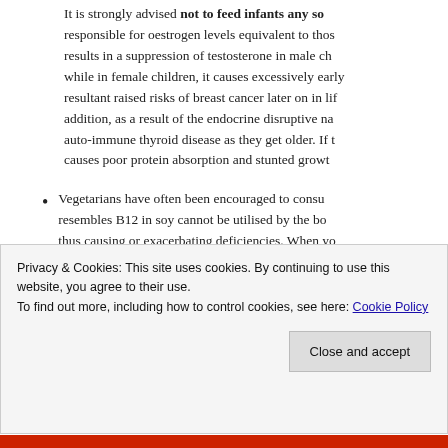It is strongly advised not to feed infants any so- responsible for oestrogen levels equivalent to thos- results in a suppression of testosterone in male ch- while in female children, it causes excessively early resultant raised risks of breast cancer later on in lif- addition, as a result of the endocrine disruptive na- auto-immune thyroid disease as they get older. If t- causes poor protein absorption and stunted growt-
Vegetarians have often been encouraged to consu- resembles B12 in soy cannot be utilised by the bo- thus causing or exacerbating deficiencies. When yo- magnesium, iron and zinc, those vegetarians ar- ev-
Privacy & Cookies: This site uses cookies. By continuing to use this website, you agree to their use.
To find out more, including how to control cookies, see here: Cookie Policy
Close and accept